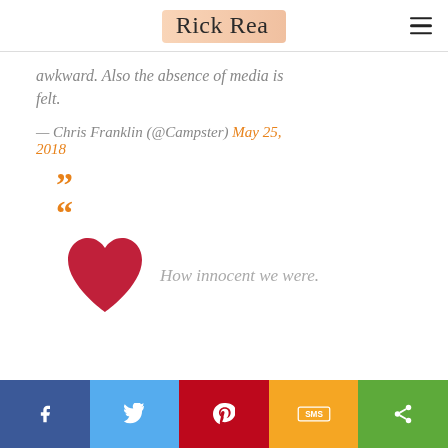Rick Rea
awkward. Also the absence of media is felt.
— Chris Franklin (@Campster) May 25, 2018
[Figure (illustration): Orange quotation mark icons (open and close), a red heart icon, and italic text reading 'How innocent we were.']
Social share bar with Facebook, Twitter, Pinterest, SMS, and Share buttons